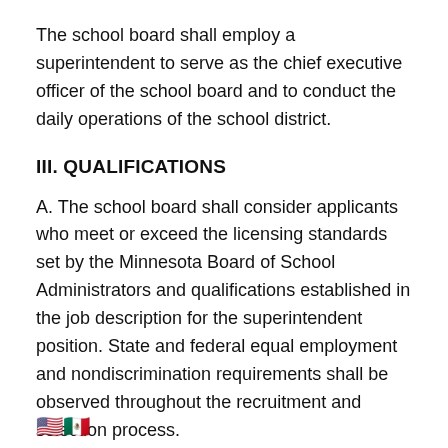The school board shall employ a superintendent to serve as the chief executive officer of the school board and to conduct the daily operations of the school district.
III. QUALIFICATIONS
A. The school board shall consider applicants who meet or exceed the licensing standards set by the Minnesota Board of School Administrators and qualifications established in the job description for the superintendent position. State and federal equal employment and nondiscrimination requirements shall be observed throughout the recruitment and selection process.